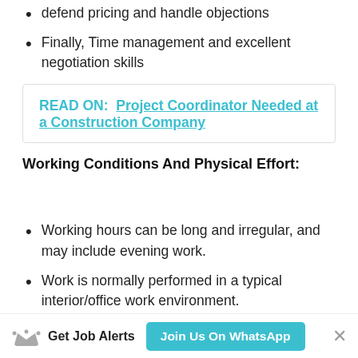defend pricing and handle objections
Finally, Time management and excellent negotiation skills
READ ON:  Project Coordinator Needed at a Construction Company
Working Conditions And Physical Effort:
Working hours can be long and irregular, and may include evening work.
Work is normally performed in a typical interior/office work environment.
Get Job Alerts  Join Us On WhatsApp  ×